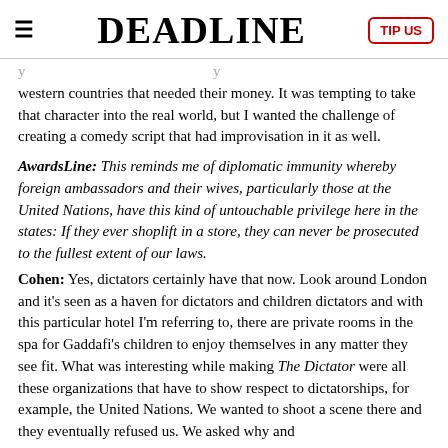DEADLINE
western countries that needed their money. It was tempting to take that character into the real world, but I wanted the challenge of creating a comedy script that had improvisation in it as well.
AwardsLine: This reminds me of diplomatic immunity whereby foreign ambassadors and their wives, particularly those at the United Nations, have this kind of untouchable privilege here in the states: If they ever shoplift in a store, they can never be prosecuted to the fullest extent of our laws.
Cohen: Yes, dictators certainly have that now. Look around London and it's seen as a haven for dictators and children dictators and with this particular hotel I'm referring to, there are private rooms in the spa for Gaddafi's children to enjoy themselves in any matter they see fit. What was interesting while making The Dictator were all these organizations that have to show respect to dictatorships, for example, the United Nations. We wanted to shoot a scene there and they eventually refused us. We asked why and